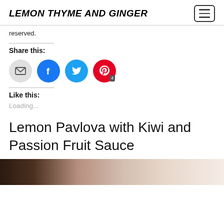LEMON THYME AND GINGER
reserved.
Share this:
[Figure (infographic): Social sharing icons: email (grey circle), Facebook (blue circle), Twitter (cyan circle), Pinterest (red circle with badge showing '4')]
Like this:
Loading...
Lemon Pavlova with Kiwi and Passion Fruit Sauce
[Figure (photo): Partial photo of a pavlova dessert at the bottom of the page]